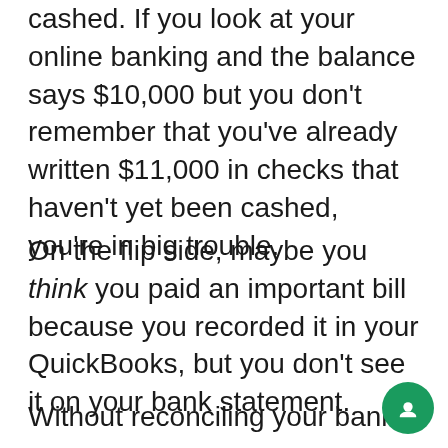cashed. If you look at your online banking and the balance says $10,000 but you don't remember that you've already written $11,000 in checks that haven't yet been cashed, you're in big trouble.
On the flip side, maybe you think you paid an important bill because you recorded it in your QuickBooks, but you don't see it on your bank statement.
Without reconciling your bank